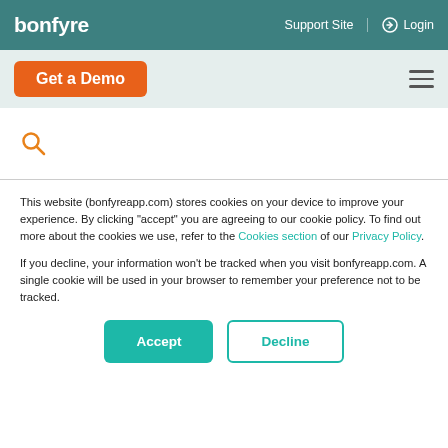bonfyre | Support Site | Login
[Figure (screenshot): Get a Demo button and hamburger menu on light teal background]
[Figure (screenshot): Orange search icon on white background above a horizontal divider]
This website (bonfyreapp.com) stores cookies on your device to improve your experience. By clicking "accept" you are agreeing to our cookie policy. To find out more about the cookies we use, refer to the Cookies section of our Privacy Policy.
If you decline, your information won't be tracked when you visit bonfyreapp.com. A single cookie will be used in your browser to remember your preference not to be tracked.
Accept | Decline